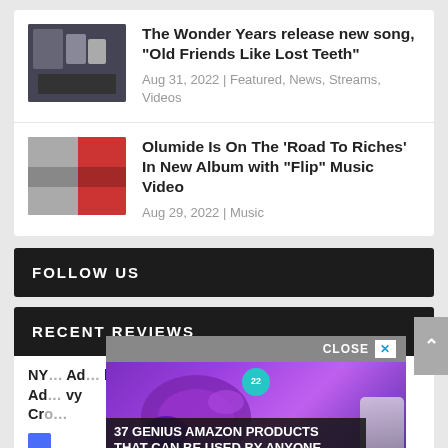The Wonder Years release new song, “Old Friends Like Lost Teeth”
Aug 31, 2022 | Featured, News, Streams, Videos
Olumide Is On The ‘Road To Riches’ In New Album with “Flip” Music Video
Aug 29, 2022 | Music
FOLLOW US
RECENT REVIEWS
NY... Ad... Cro...
[Figure (photo): Advertisement showing purple headphones with '37 Genius Amazon Products That Can Be Used By Anyone' overlay text and a close button]